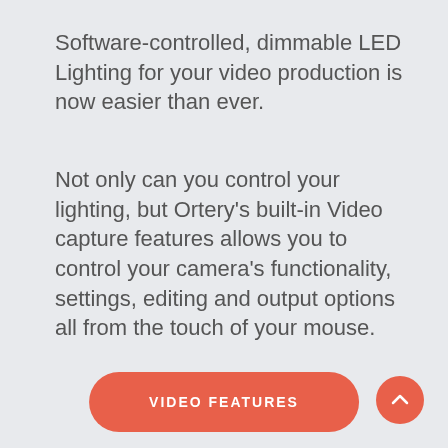Software-controlled, dimmable LED Lighting for your video production is now easier than ever.
Not only can you control your lighting, but Ortery's built-in Video capture features allows you to control your camera's functionality, settings, editing and output options all from the touch of your mouse.
VIDEO FEATURES
[Figure (illustration): Upward chevron/arrow icon inside a circular red-orange button in the bottom-right corner, used as a scroll-to-top button.]